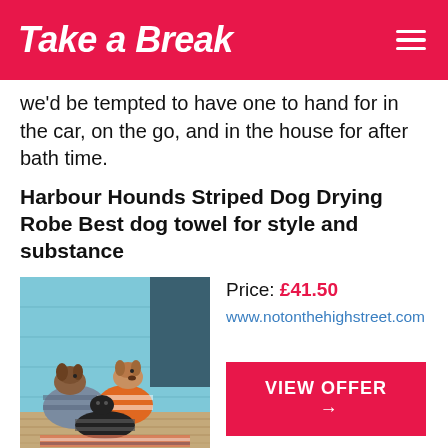Take a Break
we'd be tempted to have one to hand for in the car, on the go, and in the house for after bath time.
Harbour Hounds Striped Dog Drying Robe Best dog towel for style and substance
[Figure (photo): Three dogs wearing striped drying robes sitting in front of a light blue wooden beach hut wall]
Price: £41.50
www.notonthehighstreet.com
VIEW OFFER →
This dog drying robe has it all: super soft, 100